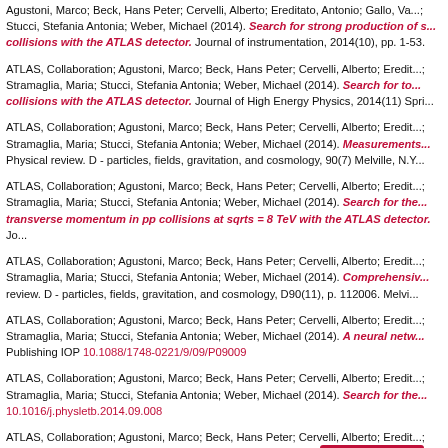Agustoni, Marco; Beck, Hans Peter; Cervelli, Alberto; Ereditato, Antonio; Gallo, Va...; Stucci, Stefania Antonia; Weber, Michael (2014). Search for strong production of s... collisions with the ATLAS detector. Journal of instrumentation, 2014(10), pp. 1-53.
ATLAS, Collaboration; Agustoni, Marco; Beck, Hans Peter; Cervelli, Alberto; Eredit...; Stramaglia, Maria; Stucci, Stefania Antonia; Weber, Michael (2014). Search for to... collisions with the ATLAS detector. Journal of High Energy Physics, 2014(11) Spri...
ATLAS, Collaboration; Agustoni, Marco; Beck, Hans Peter; Cervelli, Alberto; Eredit...; Stramaglia, Maria; Stucci, Stefania Antonia; Weber, Michael (2014). Measurements... Physical review. D - particles, fields, gravitation, and cosmology, 90(7) Melville, N.Y...
ATLAS, Collaboration; Agustoni, Marco; Beck, Hans Peter; Cervelli, Alberto; Eredit...; Stramaglia, Maria; Stucci, Stefania Antonia; Weber, Michael (2014). Search for the... transverse momentum in pp collisions at sqrts = 8 TeV with the ATLAS detector. Jo...
ATLAS, Collaboration; Agustoni, Marco; Beck, Hans Peter; Cervelli, Alberto; Eredit...; Stramaglia, Maria; Stucci, Stefania Antonia; Weber, Michael (2014). Comprehensiv... review. D - particles, fields, gravitation, and cosmology, D90(11), p. 112006. Melvi...
ATLAS, Collaboration; Agustoni, Marco; Beck, Hans Peter; Cervelli, Alberto; Eredit...; Stramaglia, Maria; Stucci, Stefania Antonia; Weber, Michael (2014). A neural netwo... Publishing IOP 10.1088/1748-0221/9/09/P09009
ATLAS, Collaboration; Agustoni, Marco; Beck, Hans Peter; Cervelli, Alberto; Eredit...; Stramaglia, Maria; Stucci, Stefania Antonia; Weber, Michael (2014). Search for the... 10.1016/j.physletb.2014.09.008
ATLAS, Collaboration; Agustoni, Marco; Beck, Hans Peter; Cervelli, Alberto; Eredit...; Stramaglia, Maria; Stucci, Stefania Antonia; Weber, Michael (... ATLAS detector. European physical journal. C - particles and...